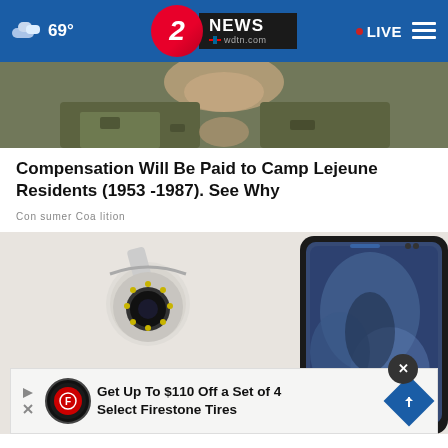69° | 2 NEWS wdtn.com | LIVE
[Figure (photo): Cropped photo of a soldier in camouflage uniform, face partially visible]
Compensation Will Be Paid to Camp Lejeune Residents (1953 -1987). See Why
Consumer Coalition
[Figure (photo): Photo of a white security camera mounted on wall next to a smartphone showing a blurry blue camera feed. A dark circular close button with X is visible. An ad banner overlays the bottom showing Firestone Auto logo and text: Get Up To $110 Off a Set of 4 Select Firestone Tires]